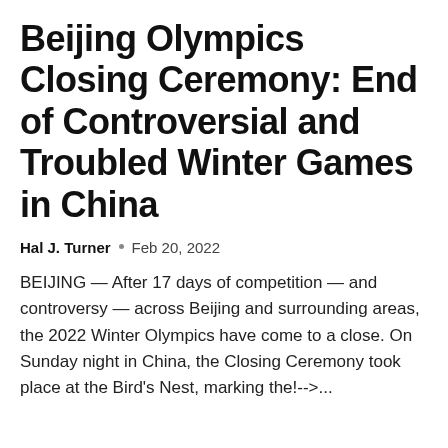Beijing Olympics Closing Ceremony: End of Controversial and Troubled Winter Games in China
Hal J. Turner • Feb 20, 2022
BEIJING — After 17 days of competition — and controversy — across Beijing and surrounding areas, the 2022 Winter Olympics have come to a close. On Sunday night in China, the Closing Ceremony took place at the Bird's Nest, marking the!-->...